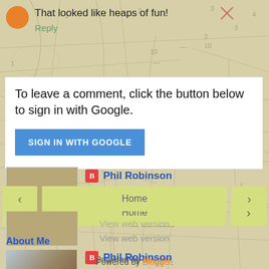[Figure (map): Vintage topographic map background showing terrain, roads, and place names including 'la-Boisselle', with faded tan/beige coloring and grid references]
That looked like heaps of fun!
Reply
To leave a comment, click the button below to sign in with Google.
SIGN IN WITH GOOGLE
Home
View web version
About Me
Phil Robinson
View my complete profile
Powered by Blogger.